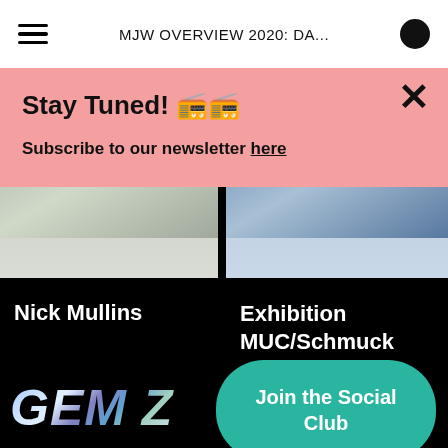MJW OVERVIEW 2020: DA...
Stay Tuned! 📻📻

Subscribe to our newsletter here
[Figure (photo): Left photo showing blurred jewelry/objects with greenish hues on light grey background]
[Figure (photo): Right photo showing blurred blue jewelry/objects on light background]
Nick Mullins
Exhibition MUC/Schmuck
[Figure (logo): GEM Z logo with holographic/iridescent metallic styling on black background]
Join the Social Club